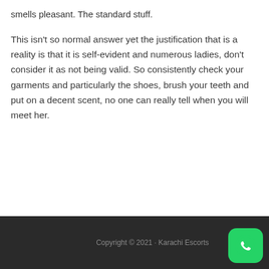smells pleasant. The standard stuff.
This isn't so normal answer yet the justification that is a reality is that it is self-evident and numerous ladies, don't consider it as not being valid. So consistently check your garments and particularly the shoes, brush your teeth and put on a decent scent, no one can really tell when you will meet her.
Copyright © 2021 · Karachi Escorts